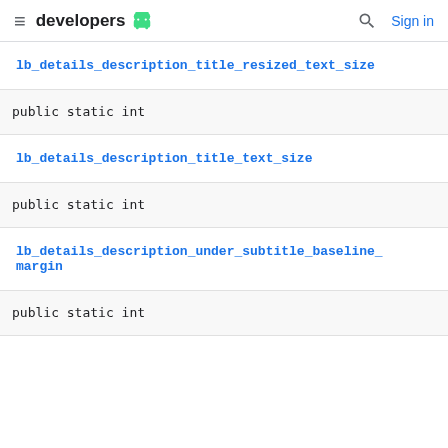developers
lb_details_description_title_resized_text_size
public static int
lb_details_description_title_text_size
public static int
lb_details_description_under_subtitle_baseline_margin
public static int